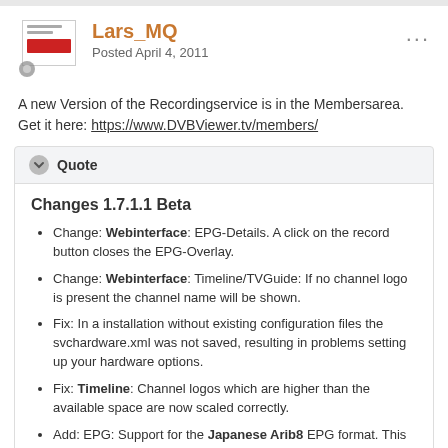Lars_MQ — Posted April 4, 2011
A new Version of the Recordingservice is in the Membersarea. Get it here: https://www.DVBViewer.tv/members/
Quote
Changes 1.7.1.1 Beta
Change: Webinterface: EPG-Details. A click on the record button closes the EPG-Overlay.
Change: Webinterface: Timeline/TVGuide: If no channel logo is present the channel name will be shown.
Fix: In a installation without existing configuration files the svchardware.xml was not saved, resulting in problems setting up your hardware options.
Fix: Timeline: Channel logos which are higher than the available space are now scaled correctly.
Add: EPG: Support for the Japanese Arib8 EPG format. This is still